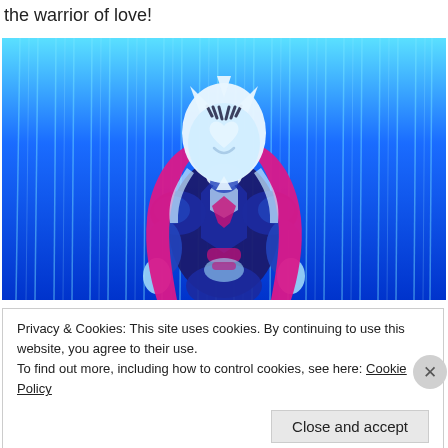the warrior of love!
[Figure (illustration): Anime-style character in blue and white armor with pink/magenta long hair, wearing a white masked helmet with dark markings, set against a glowing blue streaked background. The character is in a heroic pose.]
Privacy & Cookies: This site uses cookies. By continuing to use this website, you agree to their use.
To find out more, including how to control cookies, see here: Cookie Policy
Close and accept